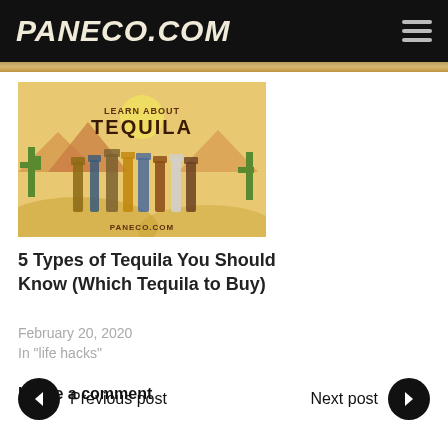PANECO.COM
[Figure (illustration): Learn About Tequila promotional banner showing various tequila bottles on a desert-themed orange/yellow background with text 'LEARN ABOUT TEQUILA' and 'PANECO.COM']
5 Types of Tequila You Should Know (Which Tequila to Buy)
February 20, 2020
In "life hacks"
Leave a comment
Previous post
Next post